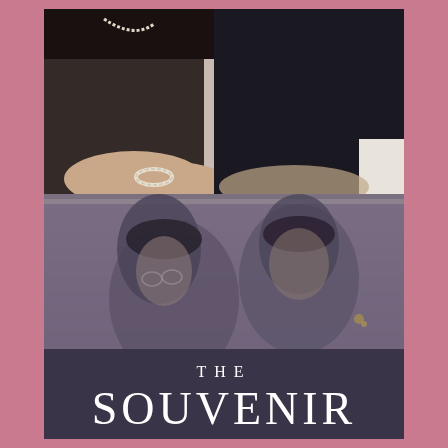[Figure (photo): Movie poster for 'The Souvenir'. Top half shows two people (a woman in black with pearl jewelry and a man in a dark suit) with arms resting on a reflective table surface. The bottom half of the image shows their reflections upside-down in the table. The bottom of the poster has the title text 'THE SOUVENIR' in white serif lettering on a dark grayish-purple background.]
THE SOUVENIR